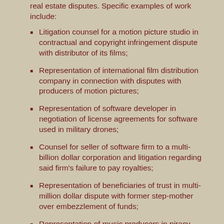real estate disputes. Specific examples of work include:
Litigation counsel for a motion picture studio in contractual and copyright infringement dispute with distributor of its films;
Representation of international film distribution company in connection with disputes with producers of motion pictures;
Representation of software developer in negotiation of license agreements for software used in military drones;
Counsel for seller of software firm to a multi-billion dollar corporation and litigation regarding said firm's failure to pay royalties;
Representation of beneficiaries of trust in multi-million dollar dispute with former step-mother over embezzlement of funds;
Representation of music producers in piracy claims against on-line music distributors.
Attorney for successor trustees of family trust, including the prosecution of fraud and breach of fiduciary duty claims;